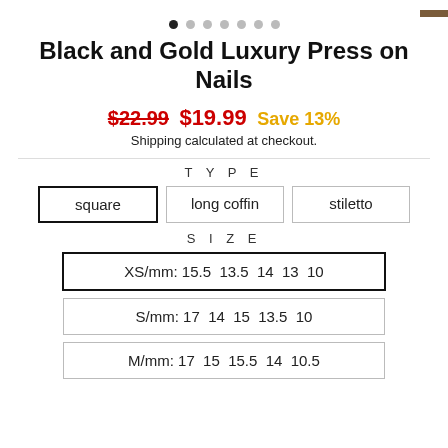[Figure (other): Carousel dot navigation with 7 dots, first dot filled/active]
Black and Gold Luxury Press on Nails
$22.99  $19.99  Save 13%
Shipping calculated at checkout.
TYPE
square   long coffin   stiletto
SIZE
XS/mm: 15.5  13.5  14  13  10
S/mm: 17  14  15  13.5  10
M/mm: 17  15  15.5  14  10.5